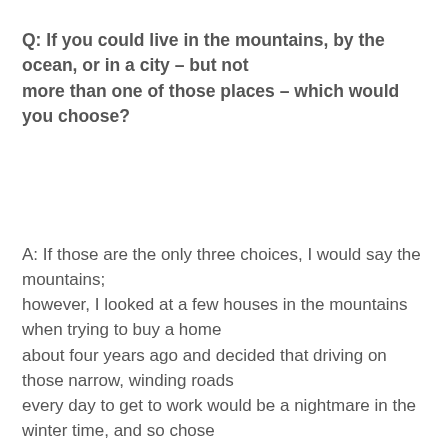Q: If you could live in the mountains, by the ocean, or in a city – but not more than one of those places – which would you choose?
A: If those are the only three choices, I would say the mountains; however, I looked at a few houses in the mountains when trying to buy a home about four years ago and decided that driving on those narrow, winding roads every day to get to work would be a nightmare in the winter time, and so chose the open plains that stretch out from the foothills that are just an hour and a